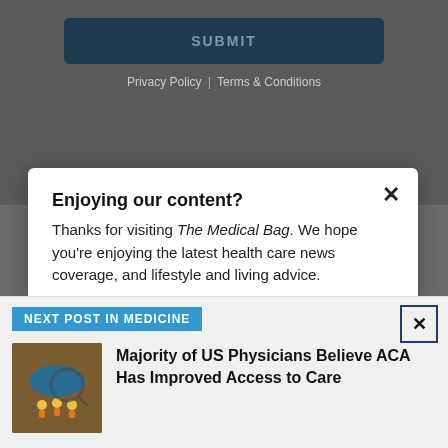[Figure (screenshot): Submit button with dark navy background and 'SUBMIT' text in muted blue-grey letters]
Privacy Policy | Terms & Conditions
Enjoying our content?
Thanks for visiting The Medical Bag. We hope you're enjoying the latest health care news coverage, and lifestyle and living advice.
NEXT POST IN MEDICINE
[Figure (illustration): Small thumbnail image showing people under an umbrella with magnifying glass, representing healthcare/ACA coverage concept]
Majority of US Physicians Believe ACA Has Improved Access to Care
LOGIN   REGISTER